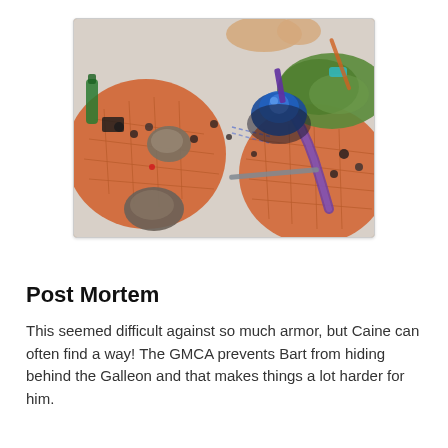[Figure (photo): Overhead view of a tabletop wargame in progress, showing miniature figures on an orange/tile patterned board with rocks, green terrain, and purple movement markers. Hands visible at top of frame.]
Post Mortem
This seemed difficult against so much armor, but Caine can often find a way! The GMCA prevents Bart from hiding behind the Galleon and that makes things a lot harder for him.